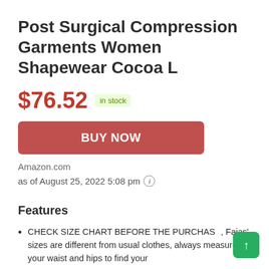Post Surgical Compression Garments Women Shapewear Cocoa L
$76.52  in stock
BUY NOW
Amazon.com
as of August 25, 2022 5:08 pm
Features
CHECK SIZE CHART BEFORE THE PURCHASE, Fajas' sizes are different from usual clothes, always measure your waist and hips to find your